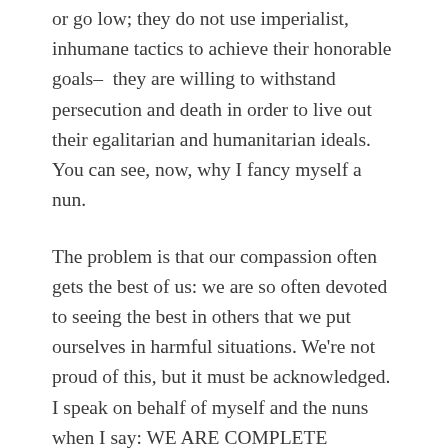or go low; they do not use imperialist, inhumane tactics to achieve their honorable goals– they are willing to withstand persecution and death in order to live out their egalitarian and humanitarian ideals. You can see, now, why I fancy myself a nun.
The problem is that our compassion often gets the best of us: we are so often devoted to seeing the best in others that we put ourselves in harmful situations. We're not proud of this, but it must be acknowledged. I speak on behalf of myself and the nuns when I say: WE ARE COMPLETE FOOLS. (Our solace: that there are a great many worse things we could be.)
As a probationary nun, I am particularly foolish, because I put it all out there, at almost all times (that's